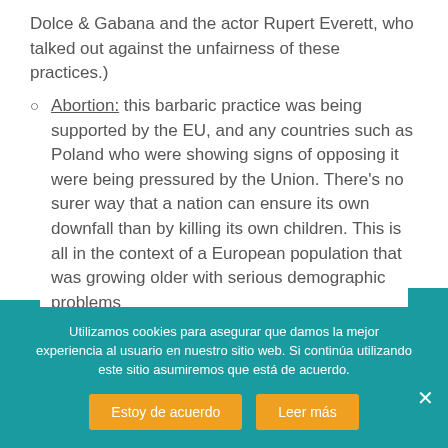Dolce & Gabana and the actor Rupert Everett, who talked out against the unfairness of these practices.)
Abortion: this barbaric practice was being supported by the EU, and any countries such as Poland who were showing signs of opposing it were being pressured by the Union. There's no surer way that a nation can ensure its own downfall than by killing its own children. This is all in the context of a European population that was growing older with serious demographic problems
Utilizamos cookies para asegurar que damos la mejor experiencia al usuario en nuestro sitio web. Si continúa utilizando este sitio asumiremos que está de acuerdo.
Estoy de acuerdo | Leer más